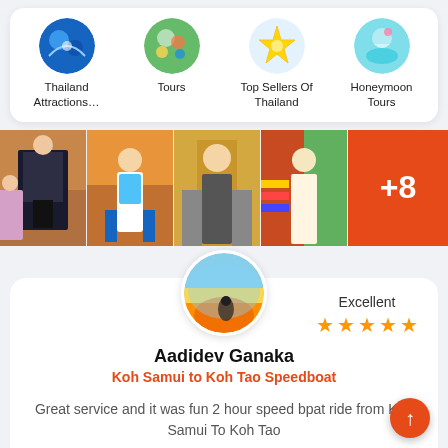[Figure (infographic): Navigation menu with four circular category icons: Thailand Attractions..., Tours, Top Sellers Of Thailand, Honeymoon Tours]
Thailand Attractions...
Tours
Top Sellers Of Thailand
Honeymoon Tours
[Figure (photo): Strip of 4 thumbnail photos from a wax museum showing figures, plus an orange tile with +8]
[Figure (photo): Circular avatar photo showing sunset/sky scene]
Excellent
★★★★★
Aadidev Ganaka
Koh Samui to Koh Tao Speedboat
Great service and it was fun 2 hour speed bpat ride from Koh Samui To Koh Tao